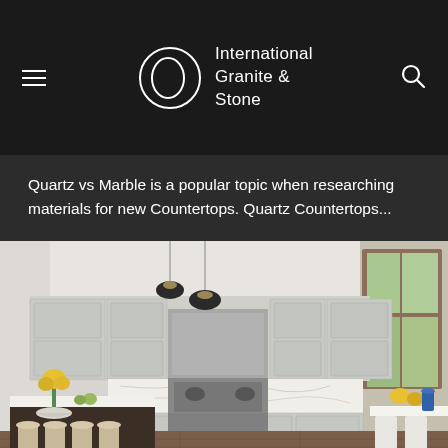International Granite & Stone
Quartz vs Marble is a popular topic when researching materials for new Countertops. Quartz Countertops...
[Figure (photo): Interior photo of a luxury kitchen with white/grey shaker-style cabinets, marble backsplash, stainless steel range, dark wood island with white quartz countertop, pendant lights, yellow flowers, and a dining area with white chairs visible on the right.]